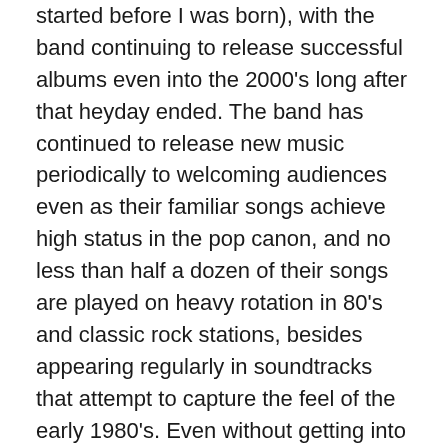started before I was born), with the band continuing to release successful albums even into the 2000's long after that heyday ended. The band has continued to release new music periodically to welcoming audiences even as their familiar songs achieve high status in the pop canon, and no less than half a dozen of their songs are played on heavy rotation in 80's and classic rock stations, besides appearing regularly in soundtracks that attempt to capture the feel of the early 1980's. Even without getting into the question of chart positions and album sales, both of which are not insignificant in the case of this band, the lasting cultural artifacts that this band's work has left behind, even as it continues to perform at high levels, speak to a career that is worthy of induction. To be sure, former lead singer Steve Perry and the other members of the band who deserve induction (including Steve Smith, Jonathan Cain, Ross Valory, Neal Schon, and Gregg Rollie) do not need